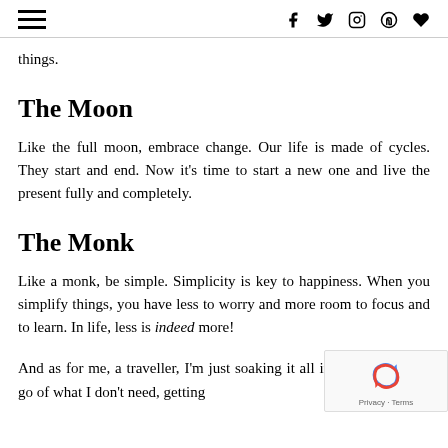≡  f  🐦  📷  𝗽  ♥
things.
The Moon
Like the full moon, embrace change. Our life is made of cycles. They start and end. Now it's time to start a new one and live the present fully and completely.
The Monk
Like a monk, be simple. Simplicity is key to happiness. When you simplify things, you have less to worry and more room to focus and to learn. In life, less is indeed more!
And as for me, a traveller, I'm just soaking it all in. Learning to let go of what I don't need, getting